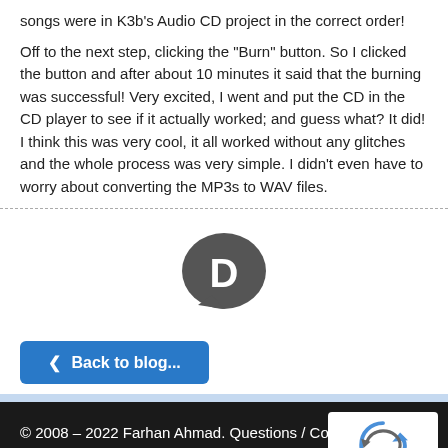songs were in K3b's Audio CD project in the correct order!
Off to the next step, clicking the "Burn" button. So I clicked the button and after about 10 minutes it said that the burning was successful! Very excited, I went and put the CD in the CD player to see if it actually worked; and guess what? It did! I think this was very cool, it all worked without any glitches and the whole process was very simple. I didn't even have to worry about converting the MP3s to WAV files.
[Figure (logo): Disqus logo — dark grey speech bubble with letter D]
< Back to blog...
© 2008 – 2022 Farhan Ahmad. Questions / Comments? Co...